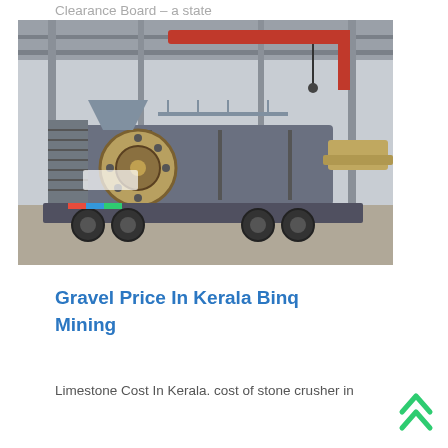Clearance Board – a state government body that is entrusted to approve licences for enterprises
[Figure (photo): A large mobile jaw crusher machine on a truck trailer inside an industrial warehouse facility. A red crane arm is visible in the background.]
Gravel Price In Kerala Binq Mining
Limestone Cost In Kerala. cost of stone crusher in